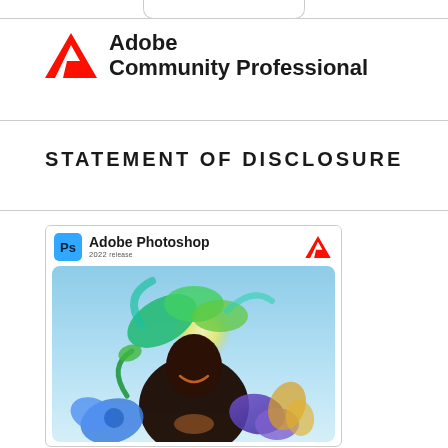[Figure (logo): Adobe Community Professional logo with red A triangle and bold text]
STATEMENT OF DISCLOSURE
[Figure (screenshot): Adobe Photoshop 2022 release splash screen showing a colorful illustration of a woman with vibrant feathered headdress against a light blue background]